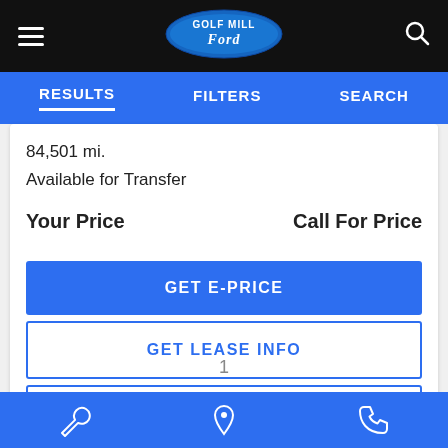Golf Mill Ford — Navigation bar with hamburger menu, logo, and search icon
RESULTS   FILTERS   SEARCH
84,501 mi.
Available for Transfer
Your Price    Call For Price
GET E-PRICE
GET LEASE INFO
GET PRE-APPROVED
1
Bottom navigation bar with wrench, location pin, and phone icons